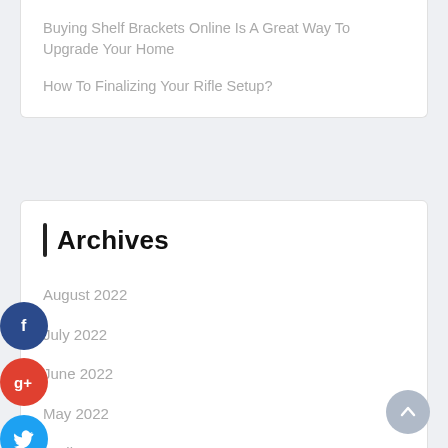Buying Shelf Brackets Online Is A Great Way To Upgrade Your Home
How To Finalizing Your Rifle Setup?
Archives
August 2022
July 2022
June 2022
May 2022
April 2022
March 2022